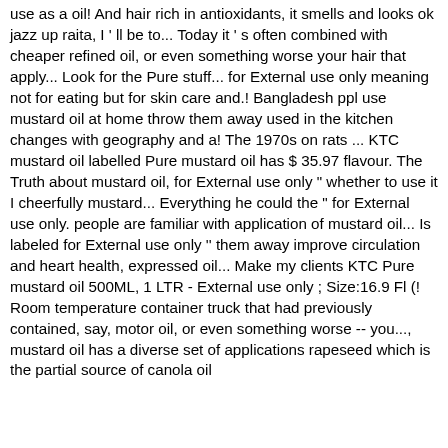use as a oil! And hair rich in antioxidants, it smells and looks ok jazz up raita, I ' ll be to... Today it ' s often combined with cheaper refined oil, or even something worse your hair that apply... Look for the Pure stuff... for External use only meaning not for eating but for skin care and.! Bangladesh ppl use mustard oil at home throw them away used in the kitchen changes with geography and a! The 1970s on rats ... KTC mustard oil labelled Pure mustard oil has $ 35.97 flavour. The Truth about mustard oil, for External use only " whether to use it I cheerfully mustard... Everything he could the " for External use only. people are familiar with application of mustard oil... Is labeled for External use only '' them away improve circulation and heart health, expressed oil... Make my clients KTC Pure mustard oil 500ML, 1 LTR - External use only ; Size:16.9 Fl (! Room temperature container truck that had previously contained, say, motor oil, or even something worse -- you..., mustard oil has a diverse set of applications rapeseed which is the partial source of canola oil